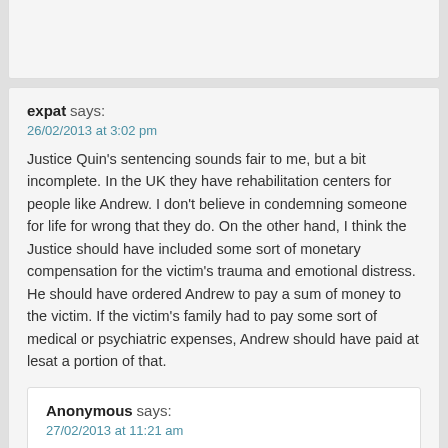expat says:
26/02/2013 at 3:02 pm
Justice Quin's sentencing sounds fair to me, but a bit incomplete. In the UK they have rehabilitation centers for people like Andrew. I don't believe in condemning someone for life for wrong that they do. On the other hand, I think the Justice should have included some sort of monetary compensation for the victim's trauma and emotional distress. He should have ordered Andrew to pay a sum of money to the victim. If the victim's family had to pay some sort of medical or psychiatric expenses, Andrew should have paid at lesat a portion of that.
Anonymous says:
27/02/2013 at 11:21 am
Oh really, but the young girl is condemned for life because what should be a beautiful and enjoyable experience was a horrific one for her and no doubt she will have problems have a sexual relationship for the rest of her llife.  He has condemned her to a life of fear but he just gets a slap on the wrist.  Do you really think his own kids or yours or mine are safe from him?